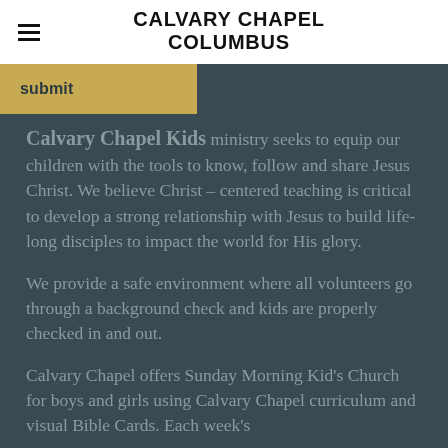CALVARY CHAPEL COLUMBUS
submit
Calvary Chapel Kids ministry seeks to equip our children with the tools to know, follow and share Jesus Christ. We believe Christ – centered teaching is critical to develop a strong relationship with Jesus to build life-long disciples to impact the world for His glory.
We provide a safe environment where all volunteers go through a background check and kids are properly checked in and out.
Calvary Chapel offers Sunday Morning Kid's Church for boys and girls using Calvary Chapel curriculum and visual Bible Cards. Each week's